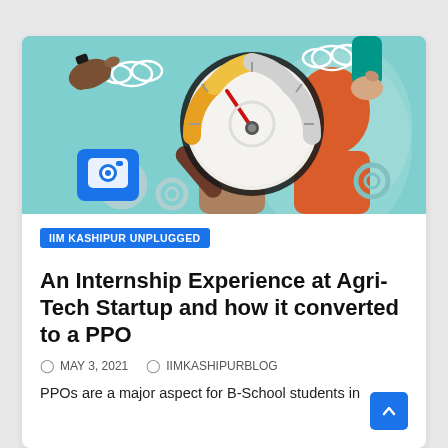[Figure (illustration): Blog article hero image showing an illustrated scene with a magnifying glass over a speedometer/gauge, human head silhouettes with gears, hands pointing, clouds and tech elements on a teal/orange background. A blue camera icon badge overlays the lower left.]
IIM KASHIPUR UNPLUGGED
An Internship Experience at Agri-Tech Startup and how it converted to a PPO
MAY 3, 2021   IIMKASHIPURBLOG
PPOs are a major aspect for B-School students in